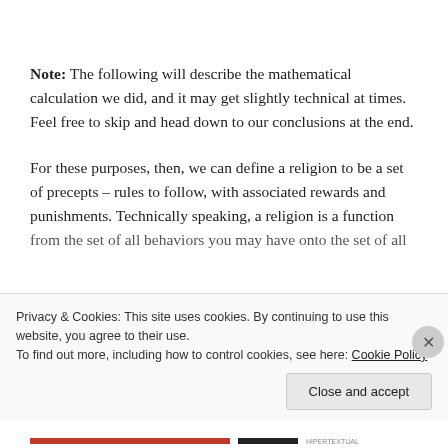Note: The following will describe the mathematical calculation we did, and it may get slightly technical at times. Feel free to skip and head down to our conclusions at the end.
For these purposes, then, we can define a religion to be a set of precepts – rules to follow, with associated rewards and punishments. Technically speaking, a religion is a function from the set of all behaviors you may have onto the set of all
Privacy & Cookies: This site uses cookies. By continuing to use this website, you agree to their use.
To find out more, including how to control cookies, see here: Cookie Policy
Close and accept